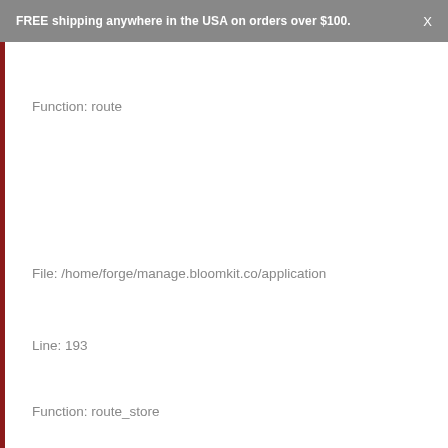FREE shipping anywhere in the USA on orders over $100.   X
Function: route
File: /home/forge/manage.bloomkit.co/application
Line: 193
Function: route_store